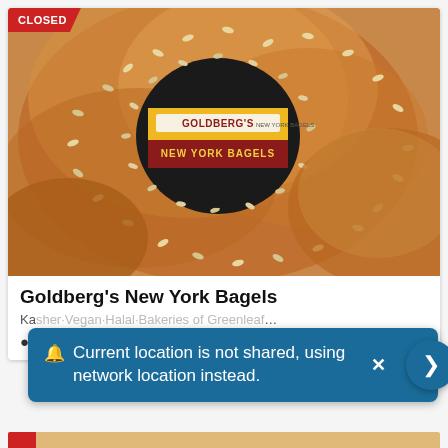[Figure (photo): Photo of sesame seed bagels with Goldberg's New York Bagels logo overlaid in the center hole of the bagel. A red 'CLOSED' badge is in the top-left corner of the image.]
Goldberg's New York Bagels
Kosher·Vegan·Halal·Bakeries of Greenleaf Washington
Current location is not shared, using network location instead.